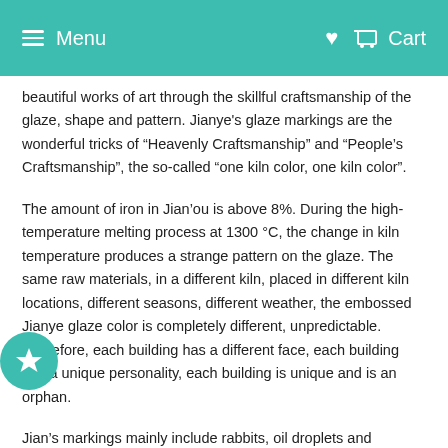Menu | Cart
beautiful works of art through the skillful craftsmanship of the glaze, shape and pattern. Jianye's glaze markings are the wonderful tricks of “Heavenly Craftsmanship” and “People’s Craftsmanship”, the so-called “one kiln color, one kiln color”.
The amount of iron in Jian’ou is above 8%. During the high-temperature melting process at 1300 °C, the change in kiln temperature produces a strange pattern on the glaze. The same raw materials, in a different kiln, placed in different kiln locations, different seasons, different weather, the embossed Jianye glaze color is completely different, unpredictable. Therefore, each building has a different face, each building has a unique personality, each building is unique and is an orphan.
Jian’s markings mainly include rabbits, oil droplets and metamorphosis. The rabbit is the most typical and most productive glaze variety of Jianye. It is named after the fine and soft veins in the black or brown glaze. The shape is like the slender and soft hair of the rabbit. In the Song Dynasty, the preference for Jianye